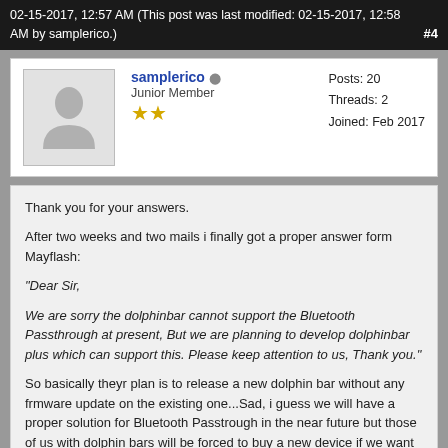02-15-2017, 12:57 AM (This post was last modified: 02-15-2017, 12:58 AM by samplerico.)  #4
[Figure (photo): Default user avatar silhouette placeholder image]
samplerico  Junior Member ★★  Posts: 20  Threads: 2  Joined: Feb 2017
Thank you for your answers.

After two weeks and two mails i finally got a proper answer form Mayflash:

"Dear Sir,

We are sorry the dolphinbar cannot support the Bluetooth Passthrough at present, But we are planning to develop dolphinbar plus which can support this. Please keep attention to us, Thank you."

So basically theyr plan is to release a new dolphin bar without any frmware update on the existing one...Sad, i guess we will have a proper solution for Bluetooth Passtrough in the near future but those of us with dolphin bars will be forced to buy a new device if we want that new BP feature for dolphin...
Find  Reply